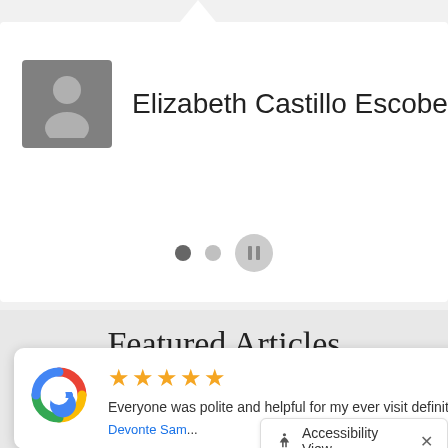Elizabeth Castillo Escobedo
[Figure (infographic): Carousel pagination: filled dot, empty dot, pause button]
Featured Articles
Read about interesting topics
[Figure (screenshot): Google review popup with 5 stars, text 'Everyone was polite and helpful for my ever visit definitely... More', reviewer 'Devonte Sam...' and Google logo]
Accessibility View